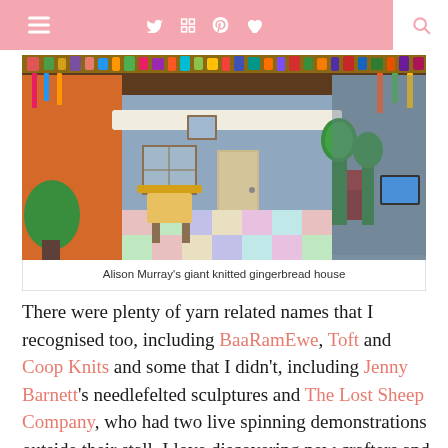Navigation bar with hamburger menu, social icons (Twitter, Instagram, Pinterest, heart), and search
[Figure (photo): A large knitted gingerbread house display at an exhibition, decorated with colorful yarn decorations, featuring miniature furniture inside including a yellow-clothed table and chairs, checkered floor, and topiary trees outside.]
Alison Murray's giant knitted gingerbread house
There were plenty of yarn related names that I recognised too, including BaaRamEwe, Toft and Coop Knits and some that I didn't, including Jenny Barnett's needlefelted sculptures and The Lost Sheep Company, who had two live spinning demonstrations outside their stall. I love discovering new crafters and